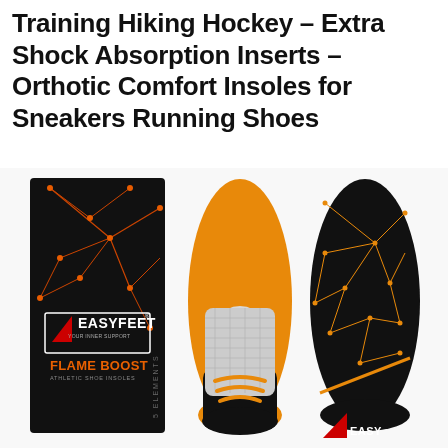Training Hiking Hockey – Extra Shock Absorption Inserts – Orthotic Comfort Insoles for Sneakers Running Shoes
[Figure (photo): Product photo of EasyFeet Flame Boost athletic shoe insoles. Shows packaging box (black with orange geometric network pattern and red triangle logo, text: EASYFEET YOUR INNER SUPPORT, FLAME BOOST ATHLETIC SHOE INSOLES), one insole shown from the top (orange with white carbon fiber heel pad and black arch area with orange chevron stripes), and one insole shown from the bottom (black with orange geometric network pattern and red/orange triangle logo with EASY text).]